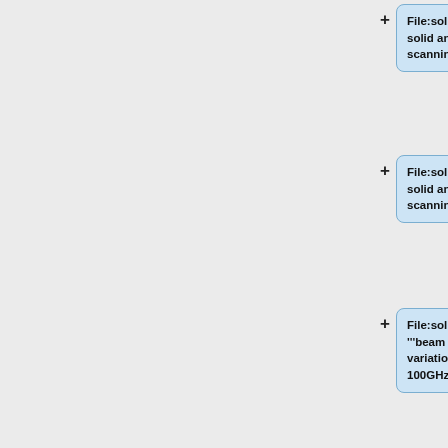File:solidarc_044_GB.png| '''beam solid angle (relative) variations wrt scanning beam - 44GHz'''
File:solidarc_070_GB.png| '''beam solid angle (relative) variations wrt scanning beam - 70GHz'''
File:solidarc_100_BS_Mars12.png| '''beam solid angle (relative) variations wrt scanning beam - 100GHz'''